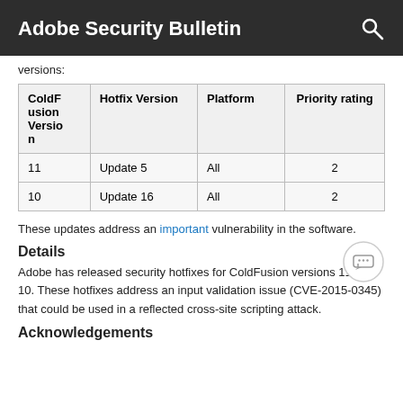Adobe Security Bulletin
versions:
| ColdFusion Version | Hotfix Version | Platform | Priority rating |
| --- | --- | --- | --- |
| 11 | Update 5 | All | 2 |
| 10 | Update 16 | All | 2 |
These updates address an important vulnerability in the software.
Details
Adobe has released security hotfixes for ColdFusion versions 11 and 10. These hotfixes address an input validation issue (CVE-2015-0345) that could be used in a reflected cross-site scripting attack.
Acknowledgements